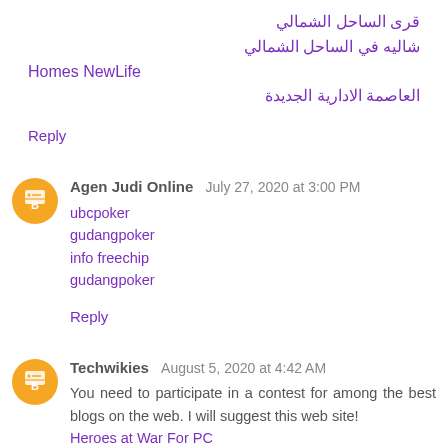قرى الساحل الشمالي
شاليه في الساحل الشمالي
Homes NewLife
العاصمة الادارية الجديدة
Reply
Agen Judi Online   July 27, 2020 at 3:00 PM
ubcpoker
gudangpoker
info freechip
gudangpoker
Reply
Techwikies   August 5, 2020 at 4:42 AM
You need to participate in a contest for among the best blogs on the web. I will suggest this web site!
Heroes at War For PC